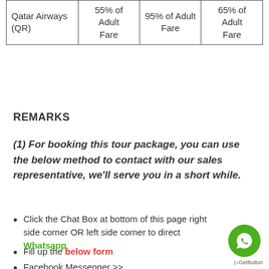|  | 55% of Adult Fare | 95% of Adult Fare | 65% of Adult Fare |
| --- | --- | --- | --- |
| Qatar Airways (QR) | 55% of Adult Fare | 95% of Adult Fare | 65% of Adult Fare |
REMARKS
(1) For booking this tour package, you can use the below method to contact with our sales representative, we'll serve you in a short while.
Click the Chat Box at bottom of this page right side corner OR left side corner to direct Whatsapp.
Fill up the below form
Facebook Messenger >>